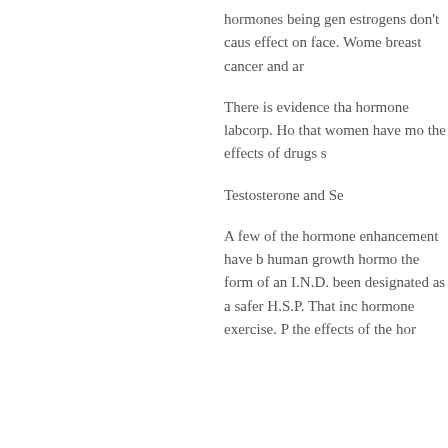hormones being gen estrogens don't caus effect on face. Wome breast cancer and ar
There is evidence tha hormone labcorp. Ho that women have mo the effects of drugs s
Testosterone and Se
A few of the hormone enhancement have b human growth hormo the form of an I.N.D. been designated as a safer H.S.P. That inc hormone exercise. P the effects of the hor